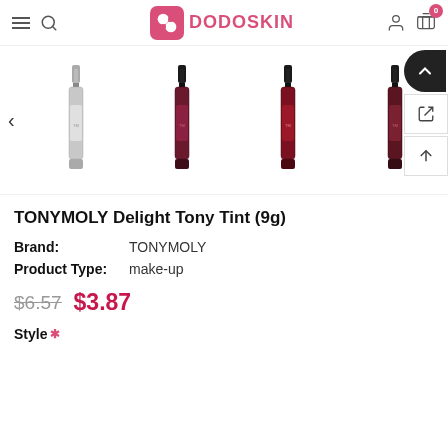DODOSKIN — navigation bar with hamburger menu, search, logo, user icon, cart (0)
[Figure (photo): Product thumbnail carousel showing four TONYMOLY Delight Tony Tint bottles — one clear/silver and three in dark red/burgundy shades — with left arrow navigation and right side panel buttons]
TONYMOLY Delight Tony Tint (9g)
Brand: TONYMOLY
Product Type: make-up
$6.57  $3.87
Style *